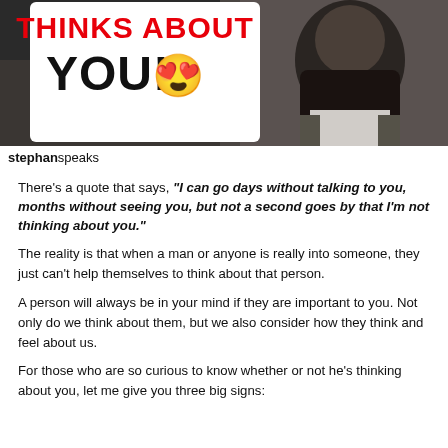[Figure (photo): A man with a large beard and dreadlocks speaking, with overlaid text reading 'THINKS ABOUT YOU! 😍' in red and black bold letters, and a 'stephanspeaks' watermark at the bottom left.]
There's a quote that says, "I can go days without talking to you, months without seeing you, but not a second goes by that I'm not thinking about you."
The reality is that when a man or anyone is really into someone, they just can't help themselves to think about that person.
A person will always be in your mind if they are important to you. Not only do we think about them, but we also consider how they think and feel about us.
For those who are so curious to know whether or not he's thinking about you, let me give you three big signs: